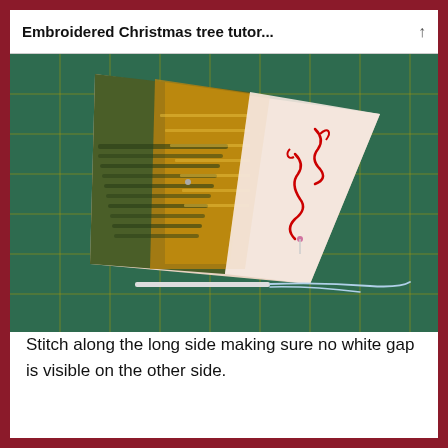Embroidered Christmas tree tutor...
[Figure (photo): Embroidered Christmas tree fabric piece on a green cutting mat. The triangular fabric shows dense embroidery in green, gold and orange threads on the left side, with the right side showing the white fabric backing with red thread markings. A needle and white thread are visible below the piece.]
Stitch along the long side making sure no white gap is visible on the other side.